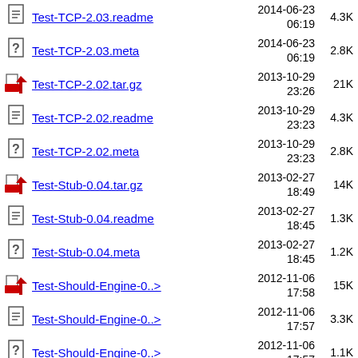Test-TCP-2.03.readme  2014-06-23 06:19  4.3K
Test-TCP-2.03.meta  2014-06-23 06:19  2.8K
Test-TCP-2.02.tar.gz  2013-10-29 23:26  21K
Test-TCP-2.02.readme  2013-10-29 23:23  4.3K
Test-TCP-2.02.meta  2013-10-29 23:23  2.8K
Test-Stub-0.04.tar.gz  2013-02-27 18:49  14K
Test-Stub-0.04.readme  2013-02-27 18:45  1.3K
Test-Stub-0.04.meta  2013-02-27 18:45  1.2K
Test-Should-Engine-0..>  2012-11-06 17:58  15K
Test-Should-Engine-0..>  2012-11-06 17:57  3.3K
Test-Should-Engine-0..>  2012-11-06 17:57  1.1K